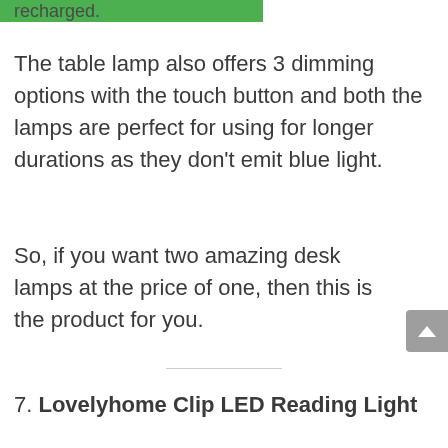recharged.
The table lamp also offers 3 dimming options with the touch button and both the lamps are perfect for using for longer durations as they don't emit blue light.
So, if you want two amazing desk lamps at the price of one, then this is the product for you.
7. Lovelyhome Clip LED Reading Light